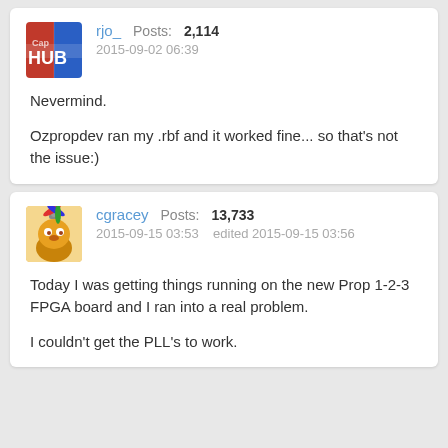rjo_   Posts: 2,114
2015-09-02 06:39

Nevermind.

Ozpropdev ran my .rbf and it worked fine... so that's not the issue:)
cgracey   Posts: 13,733
2015-09-15 03:53   edited 2015-09-15 03:56

Today I was getting things running on the new Prop 1-2-3 FPGA board and I ran into a real problem.

I couldn't get the PLL's to work.